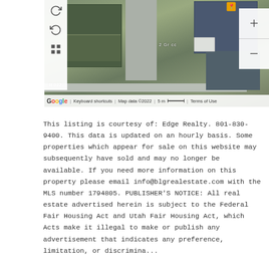[Figure (map): Google Maps aerial/satellite view showing residential neighborhood with buildings, road, and a white vehicle. Map controls visible on left and right. Footer shows Google logo, Keyboard shortcuts, Map data ©2022, 5m scale bar, Terms of Use.]
This listing is courtesy of: Edge Realty. 801-830-9400. This data is updated on an hourly basis. Some properties which appear for sale on this website may subsequently have sold and may no longer be available. If you need more information on this property please email info@blgrealestate.com with the MLS number 1794805. PUBLISHER'S NOTICE: All real estate advertised herein is subject to the Federal Fair Housing Act and Utah Fair Housing Act, which Acts make it illegal to make or publish any advertisement that indicates any preference, limitation...